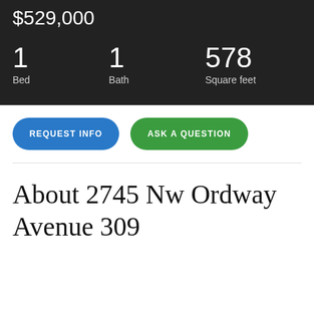$529,000
1 Bed
1 Bath
578 Square feet
REQUEST INFO
ASK A QUESTION
About 2745 Nw Ordway Avenue 309